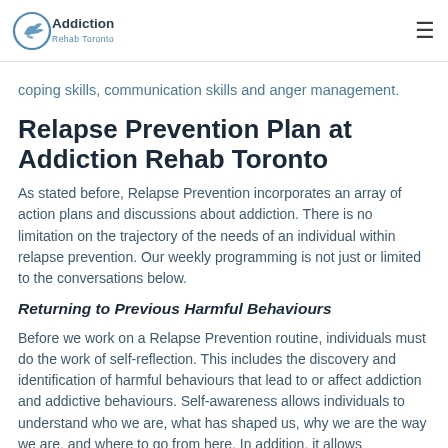Addiction Rehab Toronto
coping skills, communication skills and anger management.
Relapse Prevention Plan at Addiction Rehab Toronto
As stated before, Relapse Prevention incorporates an array of action plans and discussions about addiction. There is no limitation on the trajectory of the needs of an individual within relapse prevention. Our weekly programming is not just or limited to the conversations below.
Returning to Previous Harmful Behaviours
Before we work on a Relapse Prevention routine, individuals must do the work of self-reflection. This includes the discovery and identification of harmful behaviours that lead to or affect addiction and addictive behaviours. Self-awareness allows individuals to understand who we are, what has shaped us, why we are the way we are, and where to go from here. In addition, it allows individuals to compare their current